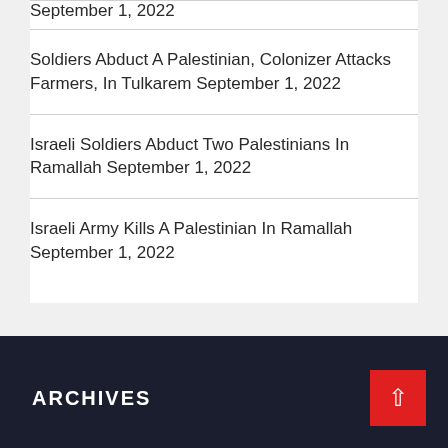September 1, 2022
Soldiers Abduct A Palestinian, Colonizer Attacks Farmers, In Tulkarem September 1, 2022
Israeli Soldiers Abduct Two Palestinians In Ramallah September 1, 2022
Israeli Army Kills A Palestinian In Ramallah September 1, 2022
ARCHIVES
↑